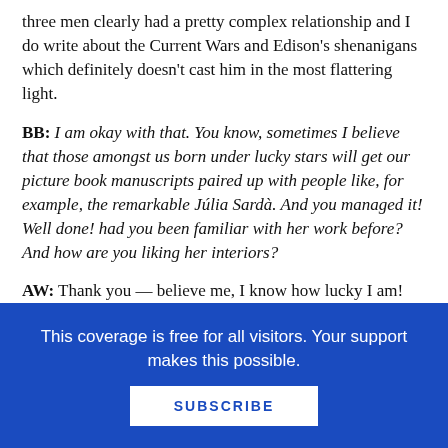three men clearly had a pretty complex relationship and I do write about the Current Wars and Edison's shenanigans which definitely doesn't cast him in the most flattering light.
BB: I am okay with that. You know, sometimes I believe that those amongst us born under lucky stars will get our picture book manuscripts paired up with people like, for example, the remarkable Júlia Sardà. And you managed it! Well done! had you been familiar with her work before? And how are you liking her interiors?
AW: Thank you — believe me, I know how lucky I am! My truly lovely editor, Tamar Brazis, was incredibly
This coverage is free for all visitors. Your support makes this possible.
SUBSCRIBE